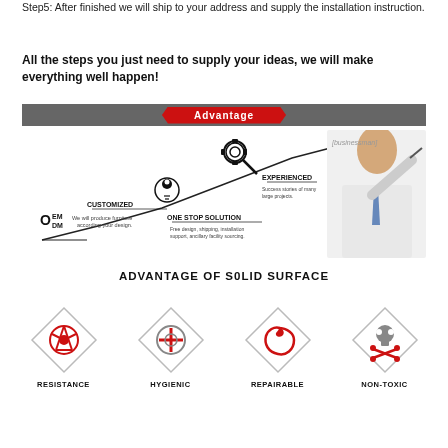Step5: After finished we will ship to your address and supply the installation instruction.
All the steps you just need to supply your ideas, we will make everything well happen!
Advantage
[Figure (infographic): Infographic showing business advantages: OEM/ODM at base, rising line chart with icons for Customized, One Stop Solution, and Experienced, with a photo of a businessman drawing on the chart.]
ADVANTAGE OF S0LID SURFACE
[Figure (infographic): Four diamond-shaped icons representing: Resistance, Hygienic, Repairable, Non-Toxic advantages of solid surface.]